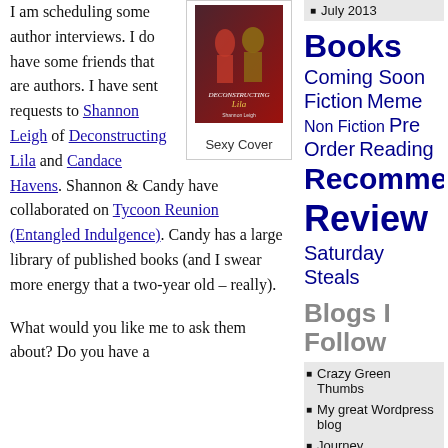I am scheduling some author interviews. I do have some friends that are authors. I have sent requests to Shannon Leigh of Deconstructing Lila and Candace Havens. Shannon & Candy have collaborated on Tycoon Reunion (Entangled Indulgence). Candy has a large library of published books (and I swear more energy that a two-year old – really).

What would you like me to ask them about? Do you have a
[Figure (photo): Book cover for 'Deconstructing Lila' by Shannon Leigh, with caption 'Sexy Cover']
July 2013
Books Coming Soon Fiction Meme Non Fiction Pre Order Reading Recomme Review Saturday Steals
Blogs I Follow
Crazy Green Thumbs
My great Wordpress blog
Journey